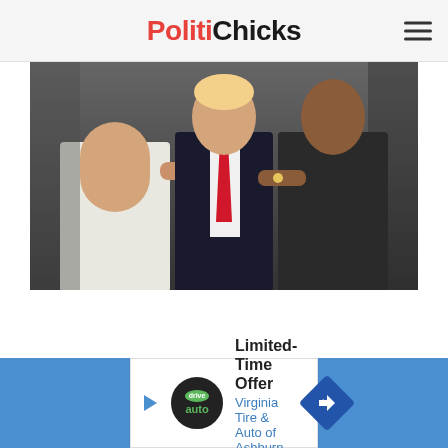PolitiChicks
[Figure (photo): A man wearing a dark suit and red tie flanked by two women, cropped photo showing torsos and hands only]
[Figure (infographic): Advertisement banner: Limited-Time Offer - Virginia Tire & Auto of Ashburn Fa... with drive auto logo and navigation arrow icon]